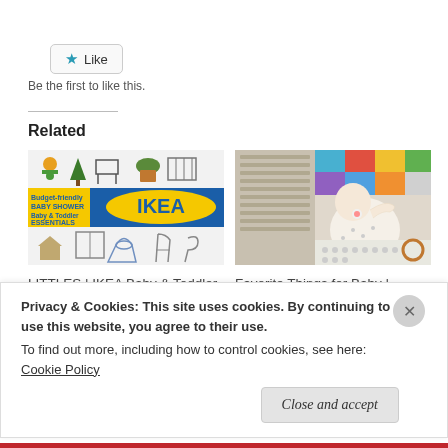[Figure (other): Like button with star icon]
Be the first to like this.
Related
[Figure (other): IKEA Baby & Toddler related article thumbnail collage with toys, IKEA logo, and furniture]
LITTLES | IKEA Baby & Toddler Favorites: $50 and Under!
[Figure (photo): Baby lying down with pacifier, colorful toys nearby - Favorite Things for Baby article thumbnail]
Favorite Things for Baby | 2018-2019
December 2, 2019
Privacy & Cookies: This site uses cookies. By continuing to use this website, you agree to their use.
To find out more, including how to control cookies, see here:
Cookie Policy
Close and accept